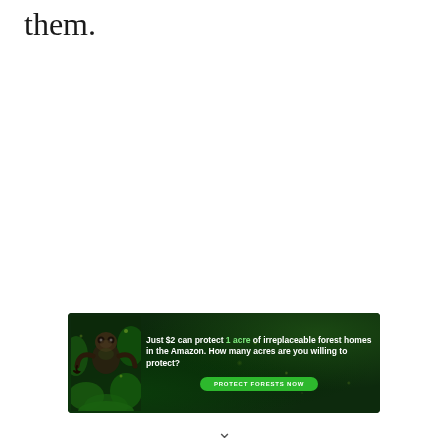them.
[Figure (infographic): Advertisement banner for Amazon forest protection. Dark forest background with animal (sloth/monkey). Text: 'Just $2 can protect 1 acre of irreplaceable forest homes in the Amazon. How many acres are you willing to protect?' with a green 'PROTECT FORESTS NOW' button.]